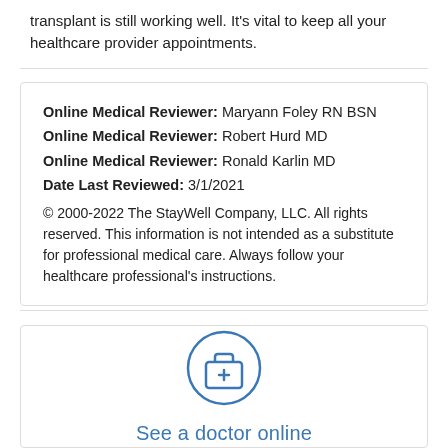transplant is still working well. It's vital to keep all your healthcare provider appointments.
Online Medical Reviewer: Maryann Foley RN BSN
Online Medical Reviewer: Robert Hurd MD
Online Medical Reviewer: Ronald Karlin MD
Date Last Reviewed: 3/1/2021
© 2000-2022 The StayWell Company, LLC. All rights reserved. This information is not intended as a substitute for professional medical care. Always follow your healthcare professional's instructions.
[Figure (illustration): Circle icon with a medical briefcase (first aid kit) containing a white plus sign, in blue outline style]
See a doctor online